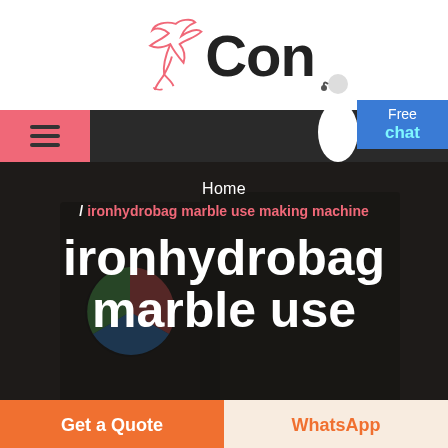[Figure (logo): Bird logo with pink outline and 'Con' text in bold black]
[Figure (screenshot): Website navigation bar with hamburger menu in pink/red box, dark background, agent photo and Free chat blue button on right]
[Figure (screenshot): Hero image area with dark overlay showing breadcrumb navigation 'Home / ironhydrobag marble use making machine' and large white bold title 'ironhydrobag marble use']
[Figure (screenshot): CTA bar with orange 'Get a Quote' button and light 'WhatsApp' button]